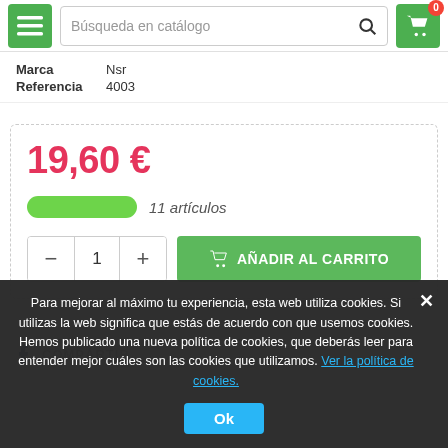Búsqueda en catálogo
| Campo | Valor |
| --- | --- |
| Marca | Nsr |
| Referencia | 4003 |
19,60 €
11 artículos
1
AÑADIR AL CARRITO
COMPÁRTIR
Para mejorar al máximo tu experiencia, esta web utiliza cookies. Si utilizas la web significa que estás de acuerdo con que usemos cookies. Hemos publicado una nueva política de cookies, que deberás leer para entender mejor cuáles son las cookies que utilizamos. Ver la política de cookies.
Ok